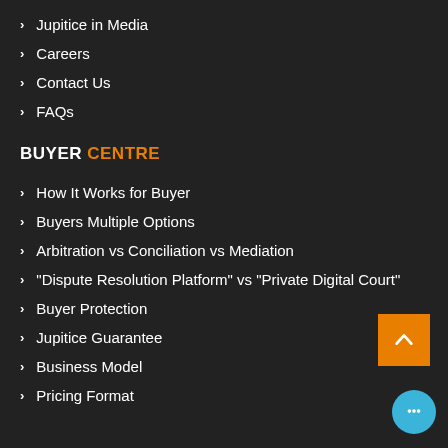Jupitice in Media
Careers
Contact Us
FAQs
BUYER CENTRE
How It Works for Buyer
Buyers Multiple Options
Arbitration vs Conciliation vs Mediation
"Dispute Resolution Platform" vs "Private Digital Court"
Buyer Protection
Jupitice Guarantee
Business Model
Pricing Format